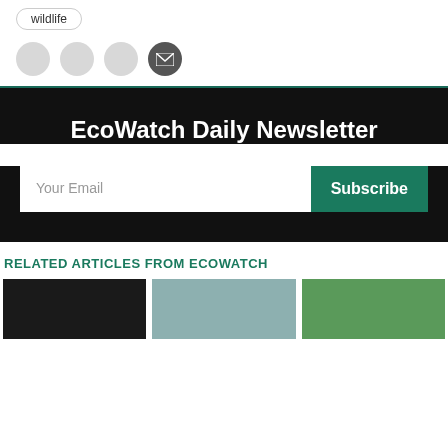wildlife
[Figure (other): Social sharing icons row: three gray circles and one dark envelope/email circle]
EcoWatch Daily Newsletter
Your Email  Subscribe
RELATED ARTICLES FROM ECOWATCH
[Figure (photo): Three article thumbnail images in a row at the bottom of the page]